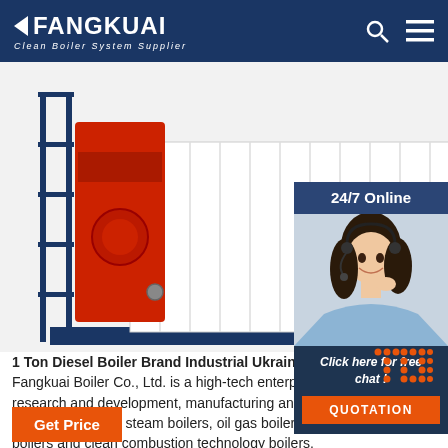FANGKUAI Clean Boiler System Supplier
[Figure (photo): Industrial boiler equipment - red and white boiler unit with blue scaffolding frame on a white background]
[Figure (photo): 24/7 Online customer service representative - woman with headset smiling, with 'Click here for free chat!' text and QUOTATION button]
1 Ton Diesel Boiler Brand Industrial Ukraine Fangkuai Boiler Co., Ltd. is a high-tech enterprise integrating research and development, manufacturing and sales of gas hot water boilers, gas steam boilers, oil gas boilers, vacuum hot water boilers and clean combustion technology boilers.
Get Price